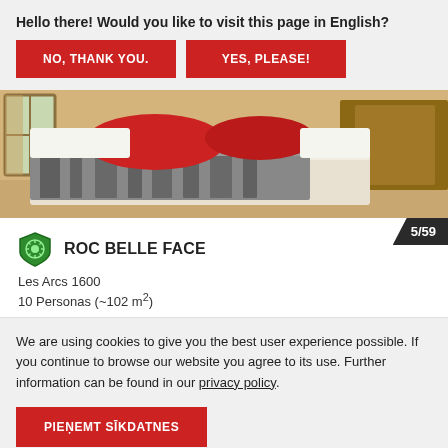Hello there! Would you like to visit this page in English?
NO, THANK YOU.
YES, PLEASE!
[Figure (photo): Hotel bedroom with a bed covered in a zebra-print blanket and red pillows, wooden furniture visible]
5/59
ROC BELLE FACE
Les Arcs 1600
10 Personas (~102 m²)
We are using cookies to give you the best user experience possible. If you continue to browse our website you agree to its use. Further information can be found in our privacy policy.
PIEŅEMT SĪKDATNES